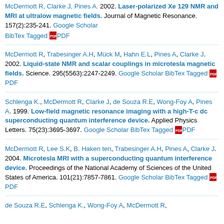McDermott R, Clarke J, Pines A. 2002. Laser-polarized Xe 129 NMR and MRI at ultralow magnetic fields. Journal of Magnetic Resonance. 157(2):235-241. Google Scholar BibTex Tagged PDF
McDermott R, Trabesinger A.H, Mück M, Hahn E.L, Pines A, Clarke J. 2002. Liquid-state NMR and scalar couplings in microtesla magnetic fields. Science. 295(5563):2247-2249. Google Scholar BibTex Tagged PDF
Schlenga K., McDermott R, Clarke J, de Souza R.E, Wong-Foy A, Pines A. 1999. Low-field magnetic resonance imaging with a high-T-c dc superconducting quantum interference device. Applied Physics Letters. 75(23):3695-3697. Google Scholar BibTex Tagged PDF
McDermott R, Lee S.K, B. Haken ten, Trabesinger A.H, Pines A, Clarke J. 2004. Microtesla MRI with a superconducting quantum interference device. Proceedings of the National Academy of Sciences of the United States of America. 101(21):7857-7861. Google Scholar BibTex Tagged PDF
de Souza R.E, Schlenga K., Wong-Foy A, McDermott R,